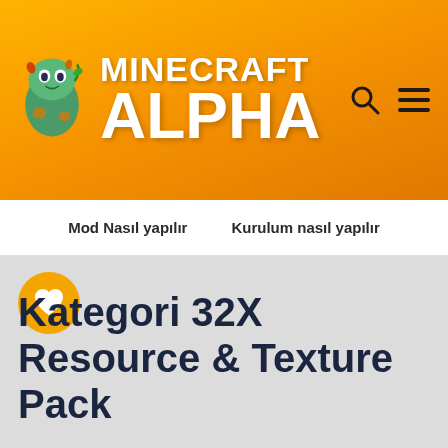[Figure (logo): Minecraft Alpha website header with orange gradient background, creeper character logo on left, MINECRAFT ALPHA text, search and menu icons on right]
Minecraft Alpha
Mod Nasıl yapılır   Kurulum nasıl yapılır
[Figure (illustration): Yellow circular heart/favorite button icon]
Kategori 32X Resource & Texture Pack